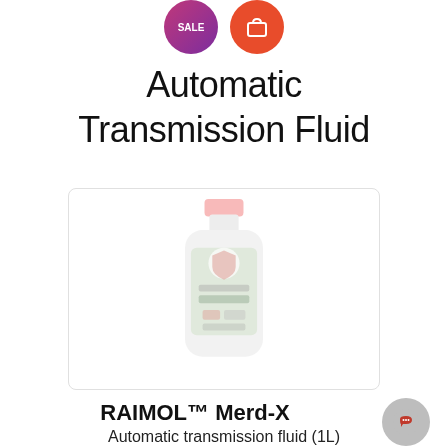[Figure (logo): Two circular icons at top: a sale icon with purple-pink gradient and a red shopping cart icon]
Automatic Transmission Fluid
[Figure (photo): Product photo of RAIMOL Merd-X automatic transmission fluid bottle (1L), white/green label, shown faded/low opacity inside a rounded rectangle border]
RAIMOL™ Merd-X
Automatic transmission fluid (1L)